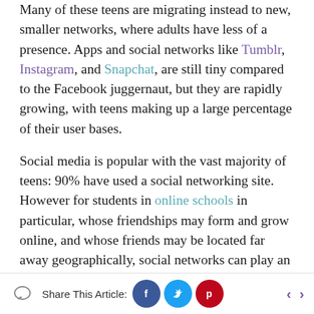Many of these teens are migrating instead to new, smaller networks, where adults have less of a presence. Apps and social networks like Tumblr, Instagram, and Snapchat, are still tiny compared to the Facebook juggernaut, but they are rapidly growing, with teens making up a large percentage of their user bases.
Social media is popular with the vast majority of teens: 90% have used a social networking site. However for students in online schools in particular, whose friendships may form and grow online, and whose friends may be located far away geographically, social networks can play an even more important role in their lives. It's so important then for kids to understand how to use these networks
Share This Article: